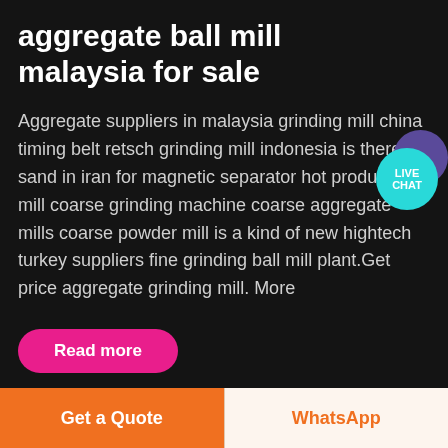aggregate ball mill malaysia for sale
Aggregate suppliers in malaysia grinding mill china timing belt retsch grinding mill indonesia is there a sand in iran for magnetic separator hot products mill coarse grinding machine coarse aggregate mills coarse powder mill is a kind of new hightech turkey suppliers fine grinding ball mill plant.Get price aggregate grinding mill. More
[Figure (other): Live Chat bubble icon — teal circular button with LIVE CHAT text, with purple speech bubble behind it]
Read more
Get a Quote
WhatsApp